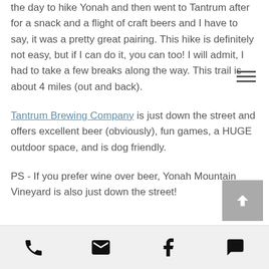the day to hike Yonah and then went to Tantrum after for a snack and a flight of craft beers and I have to say, it was a pretty great pairing. This hike is definitely not easy, but if I can do it, you can too! I will admit, I had to take a few breaks along the way. This trail is about 4 miles (out and back).
Tantrum Brewing Company is just down the street and offers excellent beer (obviously), fun games, a HUGE outdoor space, and is dog friendly.
PS - If you prefer wine over beer, Yonah Mountain Vineyard is also just down the street!
Phone | Email | Facebook | Comment icons